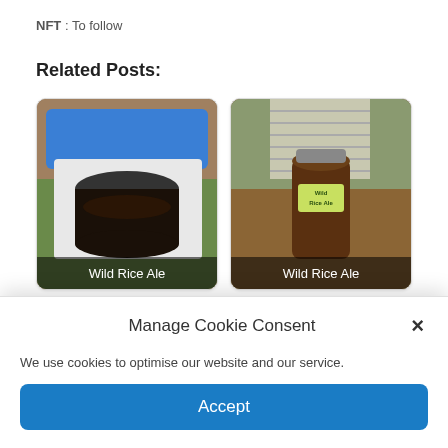NFT : To follow
Related Posts:
[Figure (photo): Photo of a dark brew in a metal pot inside a plastic container with a blue lid, outdoors on grass. Caption: Wild Rice Ale]
[Figure (photo): Photo of a mason jar with dark liquid labeled Wild Rice Ale on a wooden table near a window with blinds. Caption: Wild Rice Ale]
[Figure (photo): Partially visible photo card showing green foliage.]
[Figure (photo): Partially visible photo card showing a brownish surface.]
Manage Cookie Consent
We use cookies to optimise our website and our service.
Accept